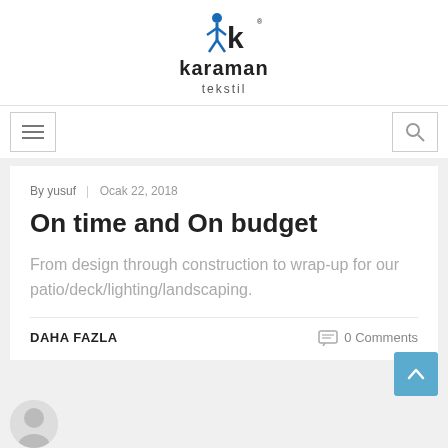[Figure (logo): Karaman Tekstil logo with stylized blue K figure and text]
Navigation bar with hamburger menu and search icon
By yusuf | Ocak 22, 2018
On time and On budget
From design through construction to wrap-up for our patio/deck/lighting/landscaping.
DAHA FAZLA    0 Comments